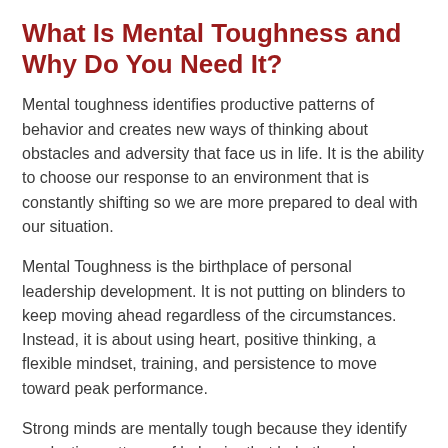What Is Mental Toughness and Why Do You Need It?
Mental toughness identifies productive patterns of behavior and creates new ways of thinking about obstacles and adversity that face us in life. It is the ability to choose our response to an environment that is constantly shifting so we are more prepared to deal with our situation.
Mental Toughness is the birthplace of personal leadership development. It is not putting on blinders to keep moving ahead regardless of the circumstances. Instead, it is about using heart, positive thinking, a flexible mindset, training, and persistence to move toward peak performance.
Strong minds are mentally tough because they identify productive patterns of behavior that help them become successful in areas that are important to them. Once